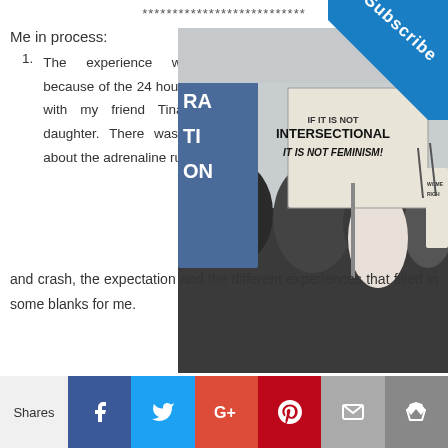***************************
Me in process:
The experience was better because of the 24 hours in the car with my friend Tina and my daughter. There was something about the adrenaline rush and crash, the expectation and the different experiences that filled in some blanks for me.
[Figure (photo): Crowd at a protest/march, person raising fist, sign reading IF IT IS NOT INTERSECTIONAL IT IS NOT FEMINISM!, other signs visible including WOMEN RIGHTS]
Shares | Facebook | Twitter | Google+ | Pinterest | Email | Crown